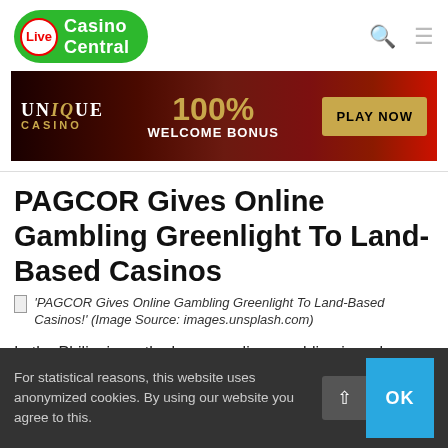Live Casino Central
[Figure (infographic): Unique Casino advertisement banner: 100% Welcome Bonus, Play Now button, dark red background with woman figure]
PAGCOR Gives Online Gambling Greenlight To Land-Based Casinos
'PAGCOR Gives Online Gambling Greenlight To Land-Based Casinos!' (Image Source: images.unsplash.com)
In the Philippines, the ban on online gambling is no longer in place as the PAGCOR, which regulates online gambling in the country, opens the doors for online casinos. However, the
For statistical reasons, this website uses anonymized cookies. By using our website you agree to this.